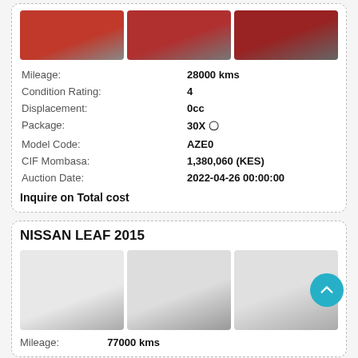[Figure (photo): Three photos of a red Nissan Leaf viewed from different angles]
| Mileage: | 28000 kms |
| Condition Rating: | 4 |
| Displacement: | 0cc |
| Package: | 30X 〇 |
| Model Code: | AZE0 |
| CIF Mombasa: | 1,380,060 (KES) |
| Auction Date: | 2022-04-26 00:00:00 |
Inquire on Total cost
NISSAN LEAF 2015
[Figure (photo): Three photos of a white Nissan Leaf 2015 viewed from different angles]
Mileage: 77000 kms